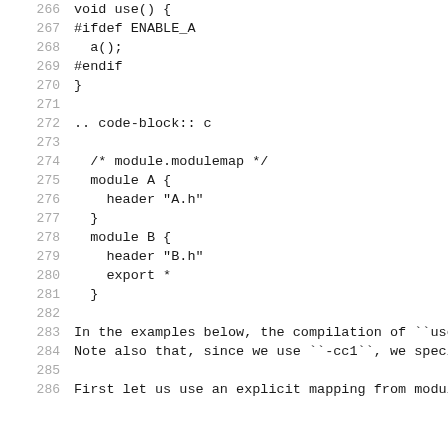266    void use() {
267    #ifdef ENABLE_A
268      a();
269    #endif
270    }
271
272    .. code-block:: c
273
274      /* module.modulemap */
275      module A {
276        header "A.h"
277      }
278      module B {
279        header "B.h"
280        export *
281      }
282
283    In the examples below, the compilation of ``use
284    Note also that, since we use ``-cc1``, we speci
285
286    First let us use an explicit mapping from modul